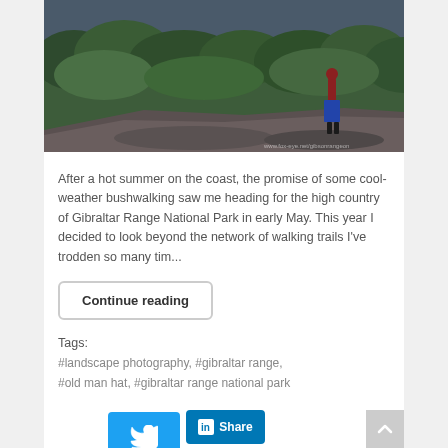[Figure (photo): Person in red jacket standing on rock outcrop overlooking forested valley]
After a hot summer on the coast, the promise of some cool-weather bushwalking saw me heading for the high country of Gibraltar Range National Park in early May. This year I decided to look beyond the network of walking trails I've trodden so many tim...
Continue reading
Tags:
#landscape photography, #gibraltar range,
#old man hat, #gibraltar range national park
[Figure (other): Twitter Tweet button, LinkedIn Share button, share count 0, Pinterest Save button]